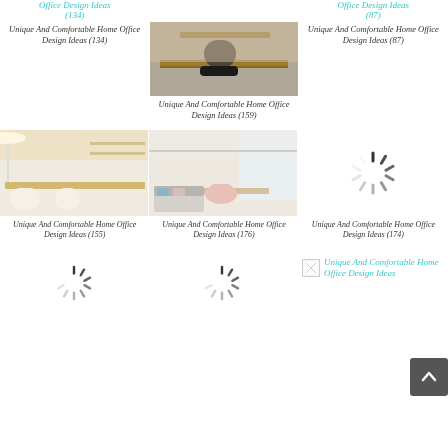Office Design Ideas (134)
[Figure (photo): Home office with dark chair and floating wooden desk]
Office Design Ideas (87)
Unique And Comfortable Home Office Design Ideas (134)
Unique And Comfortable Home Office Design Ideas (159)
Unique And Comfortable Home Office Design Ideas (87)
[Figure (photo): Bright home office with large desk and multiple chairs]
[Figure (photo): Bright home office with pink chair and sofa bed]
[Figure (other): Loading spinner placeholder]
Unique And Comfortable Home Office Design Ideas (155)
Unique And Comfortable Home Office Design Ideas (176)
Unique And Comfortable Home Office Design Ideas (174)
[Figure (other): Loading spinner placeholder bottom left]
[Figure (other): Loading spinner placeholder bottom center]
[Figure (other): Broken image with teal link text for Unique And Comfortable Home Office Design Ideas]